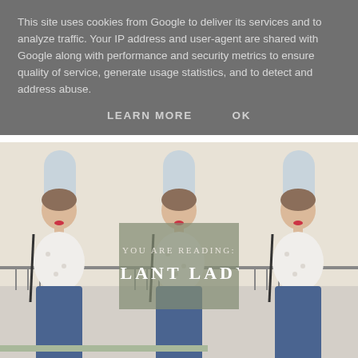This site uses cookies from Google to deliver its services and to analyze traffic. Your IP address and user-agent are shared with Google along with performance and security metrics to ensure quality of service, generate usage statistics, and to detect and address abuse.
LEARN MORE   OK
[Figure (photo): Three side-by-side panels showing the same young woman in a white floral t-shirt and jeans, standing outdoors in front of a building with arched windows and iron railings. The center panel has a semi-transparent olive/sage green overlay box reading 'YOU ARE READING: PLANT LADY'.]